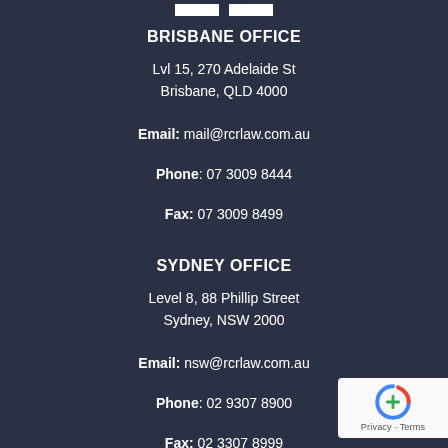BRISBANE OFFICE
Lvl 15, 270 Adelaide St
Brisbane, QLD 4000
Email: mail@rcrlaw.com.au
Phone: 07 3009 8444
Fax: 07 3009 8499
SYDNEY OFFICE
Level 8, 88 Phillip Street
Sydney, NSW 2000
Email: nsw@rcrlaw.com.au
Phone: 02 9307 8900
Fax: 02 3307 8999